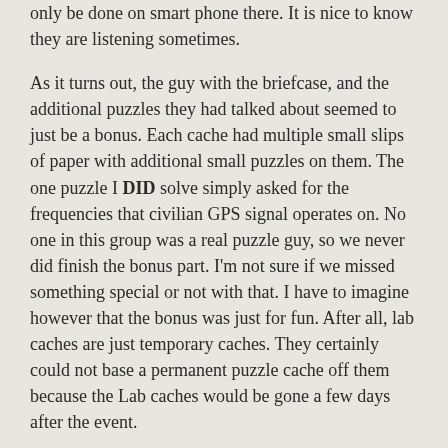only be done on smart phone there. It is nice to know they are listening sometimes.
As it turns out, the guy with the briefcase, and the additional puzzles they had talked about seemed to just be a bonus. Each cache had multiple small slips of paper with additional small puzzles on them. The one puzzle I DID solve simply asked for the frequencies that civilian GPS signal operates on. No one in this group was a real puzzle guy, so we never did finish the bonus part. I'm not sure if we missed something special or not with that. I have to imagine however that the bonus was just for fun. After all, lab caches are just temporary caches. They certainly could not base a permanent puzzle cache off them because the Lab caches would be gone a few days after the event.
So, since I don't know anything more about the bonus puzzle, I'll tell you what I can about the Lab caches themselves. since as far as I know, they were the only caches in relation to the lab caches you could earn a find on.
Sadly, I was a bit disappointed in the lab caches themselves. Not that they were horrible caches, (I've found way, way worse caches!) but they were simply ordinary. From the way Groundspeak talked them